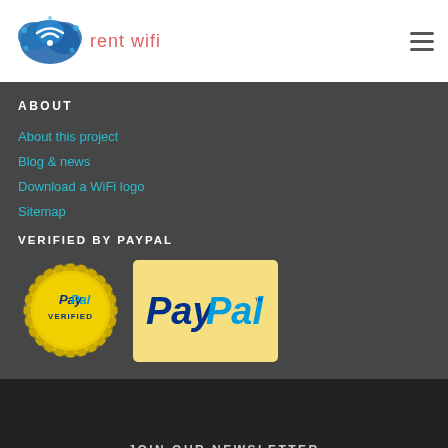[Figure (logo): Rent WiFi logo — blue cloud/wifi icon with 'rent wifi' text in coral/salmon color]
ABOUT
About this project
Blog & news
Download a WiFi logo
Sitemap
VERIFIED BY PAYPAL
[Figure (logo): PayPal Verified gold seal badge and PayPal logo on yellow background]
JOIN OUR NEWSLETTER